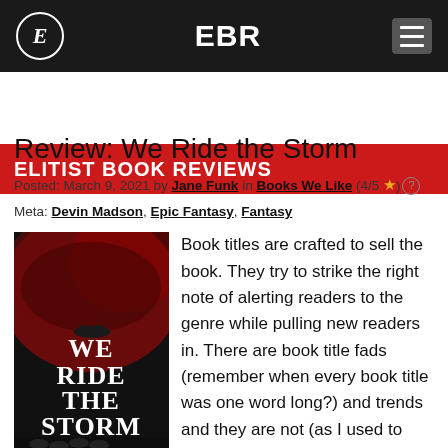EBR
ELITIST BOOK REVIEWS
Review: We Ride the Storm
Posted: March 9, 2021 by Jane Funk in Books We Like (4/5 ★) ?
Meta: Devin Madson, Epic Fantasy, Fantasy
[Figure (photo): Book cover of 'We Ride the Storm' by Devin Madson — dark red and black cover with large white title text and dramatic artwork]
Book titles are crafted to sell the book. They try to strike the right note of alerting readers to the genre while pulling new readers in. There are book title fads (remember when every book title was one word long?) and trends and they are not (as I used to assume) whatever the author thought was the best title for the